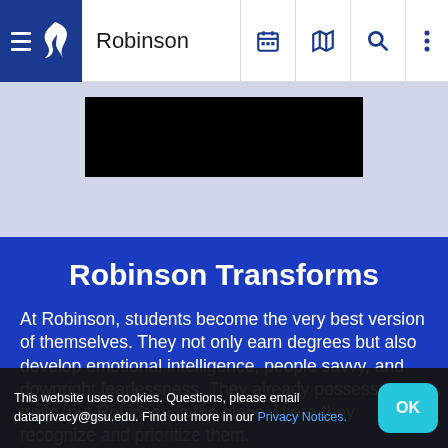Robinson
[Figure (screenshot): Black redacted/hero image banner area on light blue-grey background]
Robinson Transforms
At Robinson, students become the very best version of themselves. They not only earn degrees but also develop emotional intelligence, people savvy, and downright fearlessness. They already possess those traits, but Robinson is the place where they recognize and prioritize them.
This website uses cookies. Questions, please email dataprivacy@gsu.edu. Find out more in our Privacy Notices.